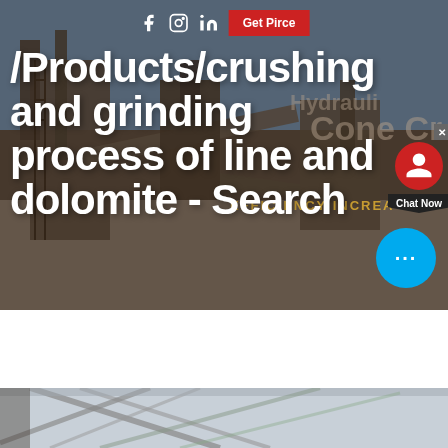[Figure (photo): Industrial crushing and grinding machinery facility with conveyor belts and large equipment, serving as hero background image]
/Products/crushing and grinding process of line and dolomite - Search
[Figure (screenshot): Chat widget with red circle icon and Chat Now label, plus blue chat bubble with ellipsis]
[Figure (photo): Interior of industrial facility showing structural steel framework and ceiling, partially visible at bottom of page]